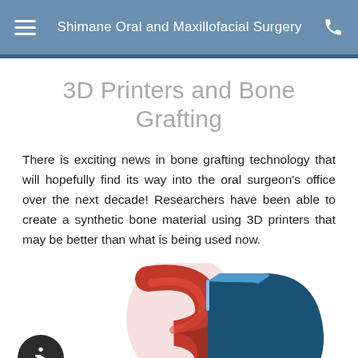Shimane Oral and Maxillofacial Surgery
3D Printers and Bone Grafting
There is exciting news in bone grafting technology that will hopefully find its way into the oral surgeon's office over the next decade! Researchers have been able to create a synthetic bone material using 3D printers that may be better than what is being used now.
[Figure (illustration): 3D rendered red and blue '3D' text/logo graphic, partially cropped at bottom of page. An accessibility (wheelchair) icon button is overlaid in the lower-left corner.]